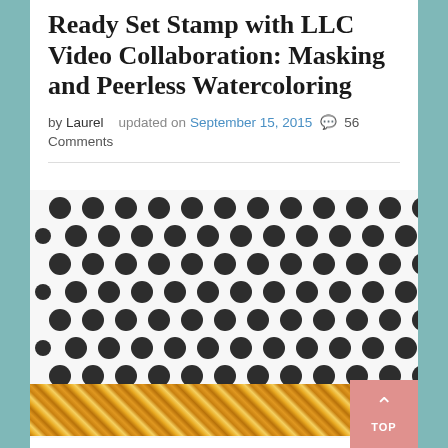Ready Set Stamp with LLC Video Collaboration: Masking and Peerless Watercoloring
by Laurel   updated on September 15, 2015  💬 56 Comments
[Figure (photo): Decorative stamping image showing a polka dot pattern in dark gray/black on white background, with a gold glitter washi tape strip across the bottom, and partial script lettering 'Ready Set Stamp' at the very bottom. A pink 'TOP' scroll button is visible in the bottom right.]